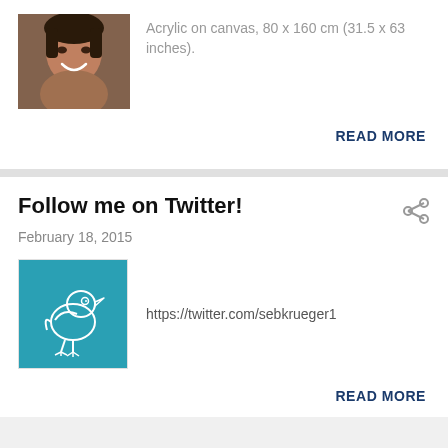[Figure (photo): Thumbnail photo of a painted portrait of a woman smiling, acrylic painting, dark tones]
Acrylic on canvas, 80 x 160 cm (31.5 x 63 inches).
READ MORE
Follow me on Twitter!
February 18, 2015
[Figure (illustration): Teal/blue square image with white line-drawing illustration of a bird (Twitter bird style)]
https://twitter.com/sebkrueger1
READ MORE